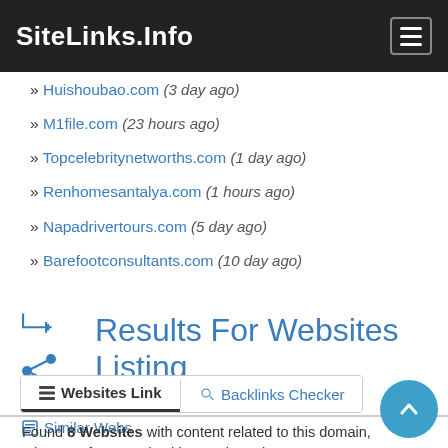SiteLinks.Info
» Huishoubao.com (3 day ago)
» M1file.com (23 hours ago)
» Topcelebritynetworths.com (1 day ago)
» Renhomesantalya.com (1 hours ago)
» Napadrivertours.com (5 day ago)
» Barefootconsultants.com (10 day ago)
Results For Websites Listing
Websites Link | Backlinks Checker | Similar Webs
Found 8 Websites with content related to this domain, It is re... after search with search engine